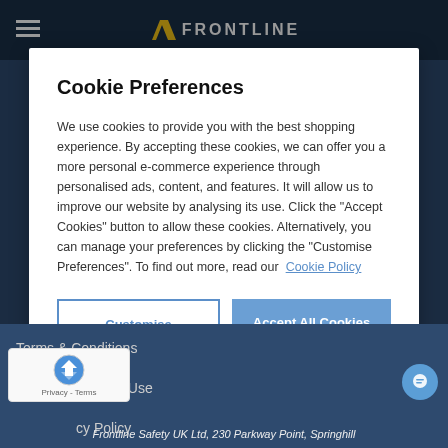[Figure (screenshot): Frontline Safety website header with logo and hamburger menu on dark navy background]
Cookie Preferences
We use cookies to provide you with the best shopping experience. By accepting these cookies, we can offer you a more personal e-commerce experience through personalised ads, content, and features. It will allow us to improve our website by analysing its use. Click the "Accept Cookies" button to allow these cookies. Alternatively, you can manage your preferences by clicking the "Customise Preferences". To find out more, read our Cookie Policy
Customise Preferences
Accept All Cookies
Terms & Conditions
Terms of Website Use
cy Policy
Frontline Safety UK Ltd, 230 Parkway Point, Springhill